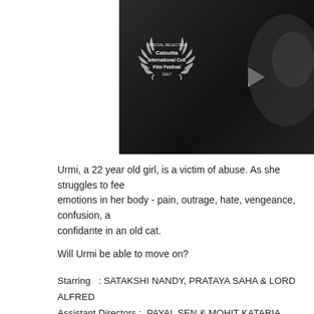[Figure (screenshot): Dark video thumbnail showing a person's face in low light, with a Calcutta International Cult Film Festival 2017 Official Selection badge overlay and a play button triangle]
Urmi, a 22 year old girl, is a victim of abuse. As she struggles to feel emotions in her body - pain, outrage, hate, vengeance, confusion, a confidante in an old cat.
Will Urmi be able to move on?
Starring   : SATAKSHI NANDY, PRATAYA SAHA & LORD ALFRED
Assistant Directors :  PAYAL SEN & MOHIT KATARIA
Baby Urmi's Voice :  PAYAL SEN
Camera & Lights  : PRAKHAR DEEP JAIN
Cat Owner and Handlers  : JESSICA THOMAS & JENA